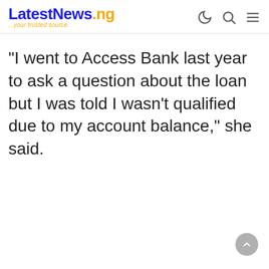LatestNews.ng ...your trusted source.
“I went to Access Bank last year to ask a question about the loan but I was told I wasn’t qualified due to my account balance,” she said.